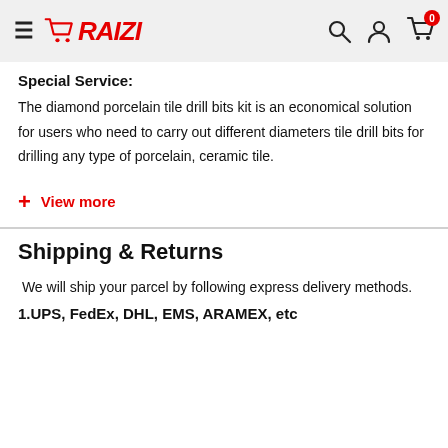RAIZI
Special Service:
The diamond porcelain tile drill bits kit is an economical solution for users who need to carry out different diameters tile drill bits for drilling any type of porcelain, ceramic tile.
+ View more
Shipping & Returns
We will ship your parcel by following express delivery methods.
1.UPS, FedEx, DHL, EMS, ARAMEX, etc